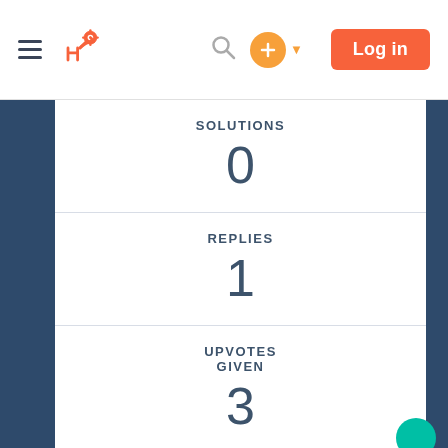HubSpot navigation bar with logo, search, add button, and Log in
SOLUTIONS
0
REPLIES
1
UPVOTES GIVEN
3
UPVOTES RECEIVED